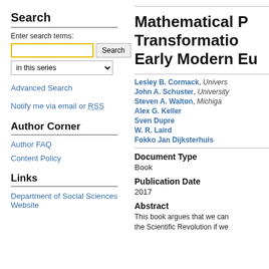Search
Enter search terms:
Author Corner
Author FAQ
Content Policy
Links
Department of Social Sciences Website
Mathematical P... Transformation... Early Modern Eu...
Lesley B. Cormack, Univers...
John A. Schuster, University...
Steven A. Walton, Michigan...
Alex G. Keller
Sven Dupre
W. R. Laird
Fokko Jan Dijksterhuis
Document Type
Book
Publication Date
2017
Abstract
This book argues that we can... the Scientific Revolution if we...